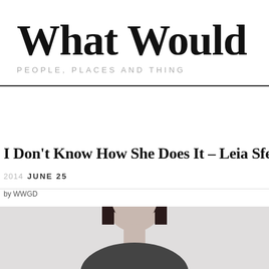What Would
PEOPLE, PLACES AND THING
I Don't Know How She Does It – Leia Sfez
2014 JUNE 25
by WWGD
[Figure (photo): Portrait photo of a woman with dark hair against a light grey background]